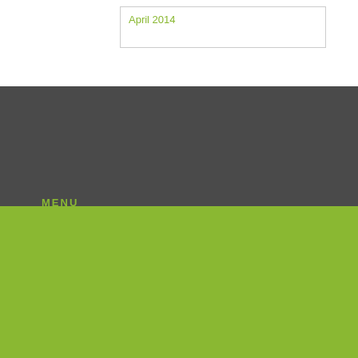April 2014
MENU
About UPRAISE
What We Do
Our Work
Blog
Contact
Selecting a New PR Agency?
It's all about the exciting ideas. Learn the right questions to ask agencies in your search.
Ready to Get Creative?